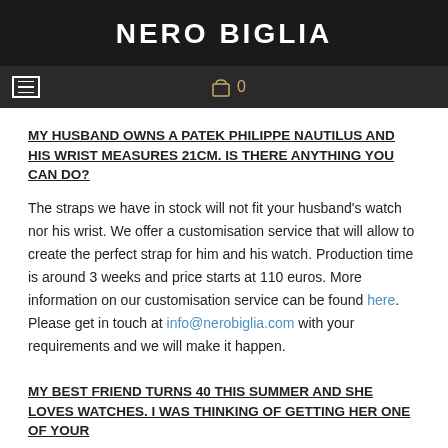NERO BIGLIA
MY HUSBAND OWNS A PATEK PHILIPPE NAUTILUS AND HIS WRIST MEASURES 21CM. IS THERE ANYTHING YOU CAN DO?
The straps we have in stock will not fit your husband's watch nor his wrist. We offer a customisation service that will allow to create the perfect strap for him and his watch. Production time is around 3 weeks and price starts at 110 euros. More information on our customisation service can be found here. Please get in touch at info@nerobiglia.com with your requirements and we will make it happen.
MY BEST FRIEND TURNS 40 THIS SUMMER AND SHE LOVES WATCHES. I WAS THINKING OF GETTING HER ONE OF YOUR